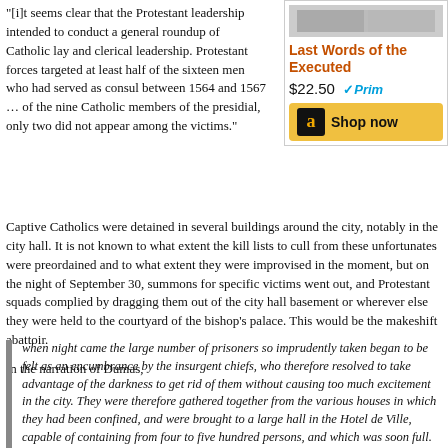“[i]t seems clear that the Protestant leadership intended to conduct a general roundup of Catholic lay and clerical leadership. Protestant forces targeted at least half of the sixteen men who had served as consul between 1564 and 1567 … of the nine Catholic members of the presidial, only two did not appear among the victims.”
[Figure (other): Amazon advertisement for 'Last Words of the Executed' priced at $22.50 with Prime shipping and Shop now button]
Captive Catholics were detained in several buildings around the city, notably in the city hall. It is not known to what extent the kill lists to cull from these unfortunates were preordained and to what extent they were improvised in the moment, but on the night of September 30, summons for specific victims went out, and Protestant squads complied by dragging them out of the city hall basement or wherever else they were held to the courtyard of the bishop’s palace. This would be the makeshift abattoir.
In the narration of Dumas,
when night came the large number of prisoners so imprudently taken began to be felt as an encumbrance by the insurgent chiefs, who therefore resolved to take advantage of the darkness to get rid of them without causing too much excitement in the city. They were therefore gathered together from the various houses in which they had been confined, and were brought to a large hall in the Hotel de Ville, capable of containing from four to five hundred persons, and which was soon full. An irregular tribunal arrogating to itself powers of life and death was formed, and a clerk was appointed to register its decrees. A list of all the prisoners was given him, a cross placed before a name indicating that its bearer was condemned to death, and, list in hand, he went from group to group calling out the names distinguished by the fatal sign. Those thus sorted out were then conducted to a spot which had been chosen beforehand as the place of execution.